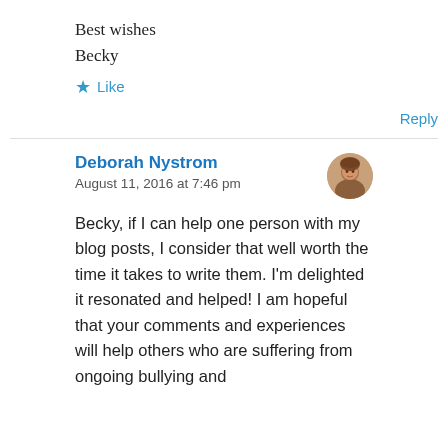Best wishes
Becky
★ Like
Reply
Deborah Nystrom
August 11, 2016 at 7:46 pm
Becky, if I can help one person with my blog posts, I consider that well worth the time it takes to write them. I'm delighted it resonated and helped! I am hopeful that your comments and experiences will help others who are suffering from ongoing bullying and "cowardish" behaviors that can damage and